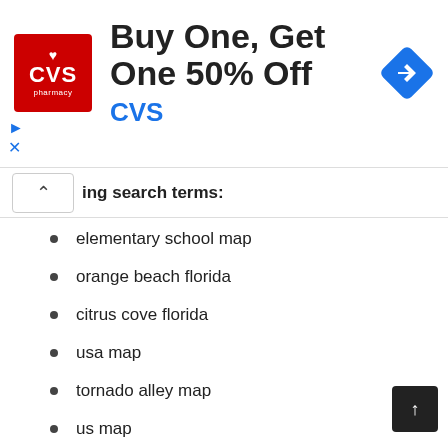[Figure (illustration): CVS Pharmacy advertisement banner: Buy One, Get One 50% Off, CVS logo in red square on left, navigation diamond icon on right]
ing search terms:
elementary school map
orange beach florida
citrus cove florida
usa map
tornado alley map
us map
sarasota florida map
map of africa
florida east coast map
map of eastern united states